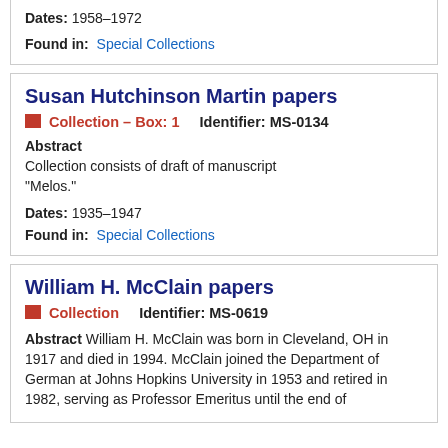Dates: 1958-1972
Found in: Special Collections
Susan Hutchinson Martin papers
Collection — Box: 1    Identifier: MS-0134
Abstract
Collection consists of draft of manuscript "Melos."
Dates: 1935-1947
Found in: Special Collections
William H. McClain papers
Collection    Identifier: MS-0619
Abstract William H. McClain was born in Cleveland, OH in 1917 and died in 1994. McClain joined the Department of German at Johns Hopkins University in 1953 and retired in 1982, serving as Professor Emeritus until the end of